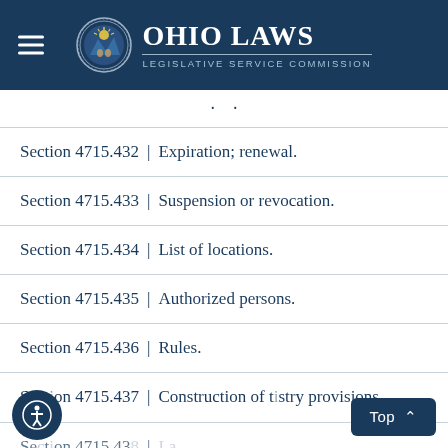Ohio Laws — Legislative Service Commission
· ·
Section 4715.432 | Expiration; renewal.
Section 4715.433 | Suspension or revocation.
Section 4715.434 | List of locations.
Section 4715.435 | Authorized persons.
Section 4715.436 | Rules.
Section 4715.437 | Construction of tistry provisions.
Section 4715.438 | ...